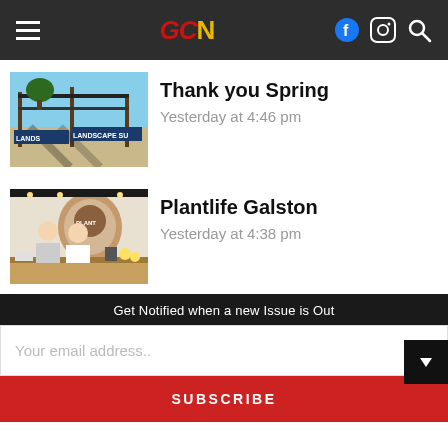GCN navigation bar with logo, Facebook, Instagram, Search icons
Thank you Spring
Yesterday at 4:46 pm
[Figure (photo): Landscape supply yard with sign reading LANDS and LANDSCAPE SUP, outdoor setting with trees and blue sky]
Plantlife Galston
Yesterday at 4:38 pm
[Figure (photo): Two people, a man and a woman, standing behind a counter in a plant shop with a circular logo sign in the background]
Get Notified when a new Issue is Out
Your email address..
SUBSCRIBE